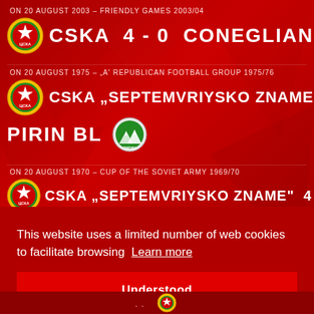ON 20 AUGUST 2003 – FRIENDLY GAMES 2003/04
CSKA  4 - 0  CONEGLIANO G
ON 20 AUGUST 1975 – 'A' REPUBLICAN FOOTBALL GROUP 1975/76
CSKA „SEPTEMVRIYSKO ZNAME"  1 - 0  PIRIN BL
ON 20 AUGUST 1970 – CUP OF THE SOVIET ARMY 1969/70
CSKA „SEPTEMVRIYSKO ZNAME"  4 - 0
This website uses a limited number of web cookies to facilitate browsing  Learn more
Understood